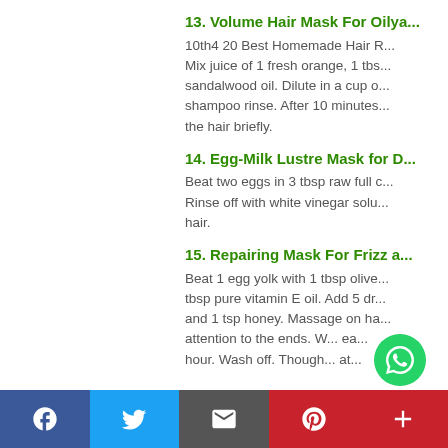13. Volume Hair Mask For Oily...
10th4 20 Best Homemade Hair R... Mix juice of 1 fresh orange, 1 tbs... sandalwood oil. Dilute in a cup o... shampoo rinse. After 10 minutes... the hair briefly.
14. Egg-Milk Lustre Mask for D...
Beat two eggs in 3 tbsp raw full c... Rinse off with white vinegar solu... hair.
15. Repairing Mask For Frizz a...
Beat 1 egg yolk with 1 tbsp olive... tbsp pure vitamin E oil. Add 5 dr... and 1 tsp honey. Massage on ha... attention to the ends. W... ea... hour. Wash off. Though... at...